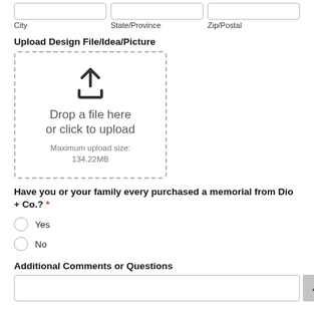City   State/Province   Zip/Postal
Upload Design File/Idea/Picture
[Figure (other): File upload drag-and-drop area with upload icon, text 'Drop a file here or click to upload', and 'Maximum upload size: 134.22MB']
Have you or your family every purchased a memorial from Dio + Co.? *
Yes
No
Additional Comments or Questions